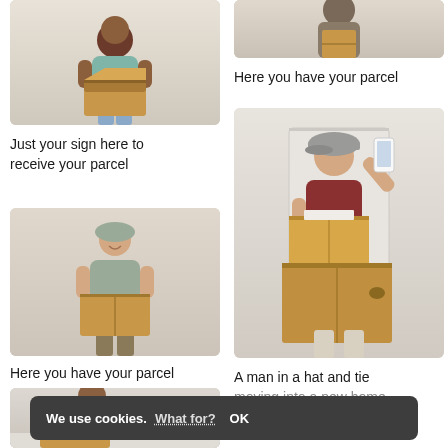[Figure (photo): Woman in teal shirt holding an open cardboard box, smiling]
[Figure (photo): Delivery person from behind holding a package, partial view]
Just your sign here to receive your parcel
Here you have your parcel
[Figure (photo): Woman in grey top smiling and holding a cardboard box]
[Figure (photo): Delivery man in cap holding large cardboard boxes and taking a selfie with a smartphone]
Here you have your parcel
[Figure (photo): Person in red shirt crouching and handling a cardboard box on the floor]
A man in a hat and tie moving into a new home
We use cookies. What for? OK